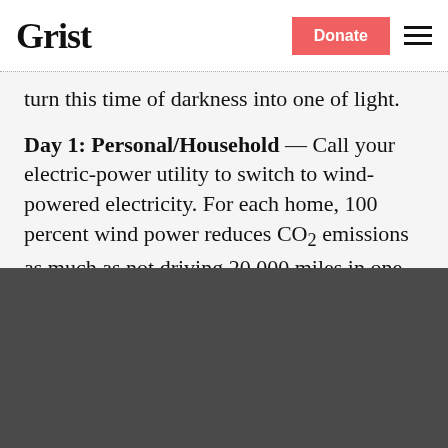Grist
turn this time of darkness into one of light.
Day 1: Personal/Household – Call your electric-power utility to switch to wind-powered electricity. For each home, 100 percent wind power reduces CO2 emissions as much as not driving 20,000 miles in one
[Figure (other): Parched newsletter popup overlay with yellow-green background. Shows 'Parched' logo in large serif text, tagline 'Sign up to get drought updates from Grist.', email input field, SIGN UP button, and 'No thanks' link. Close (×) button in top right corner.]